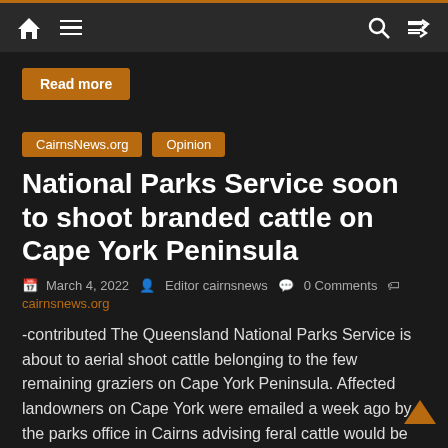Navigation bar with home icon, menu icon, search icon, shuffle icon
Read more
CairnsNews.org   Opinion
National Parks Service soon to shoot branded cattle on Cape York Peninsula
March 4, 2022   Editor cairnsnews   0 Comments   cairnsnews.org
-contributed The Queensland National Parks Service is about to aerial shoot cattle belonging to the few remaining graziers on Cape York Peninsula. Affected landowners on Cape York were emailed a week ago by the parks office in Cairns advising feral cattle would be shot